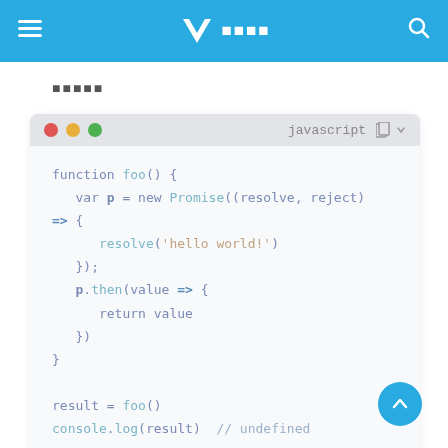≡  W■■■  🔍
■■■■■
[Figure (screenshot): JavaScript code block showing a function foo() with a Promise, resolve('hello world!'), p.then(value => { return value }), result = foo(), console.log(result) // undefined]